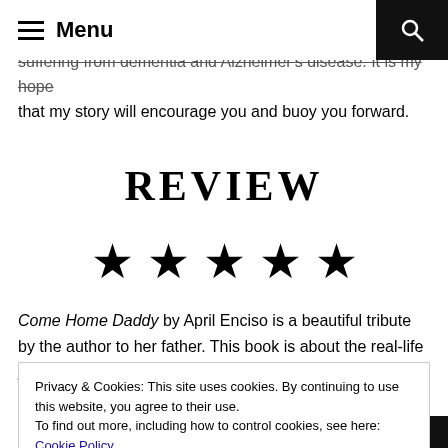Menu
suffering from dementia and Alzheimer's disease. It is my hope that my story will encourage you and buoy you forward.
REVIEW
[Figure (other): Five black star rating symbols]
Come Home Daddy by April Enciso is a beautiful tribute by the author to her father. This book is about the real-life journey of
Privacy & Cookies: This site uses cookies. By continuing to use this website, you agree to their use.
To find out more, including how to control cookies, see here: Cookie Policy
Close and accept